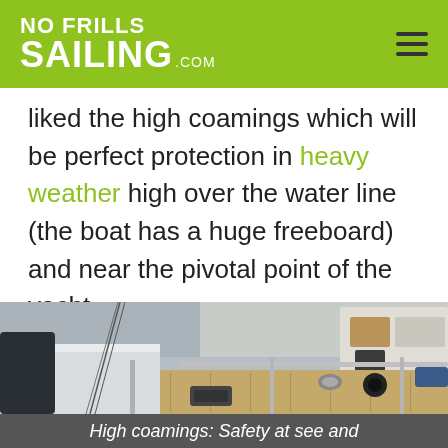NO FRILLS SAILING.com
liked the high coamings which will be perfect protection in heavy weather high over the water line (the boat has a huge freeboard) and near the pivotal point of the yacht.
[Figure (photo): Photo of yacht cockpit and coamings at a boat show, showing teak deck, rigging, white hull, and cabin structure in the background.]
High coamings: Safety at see and